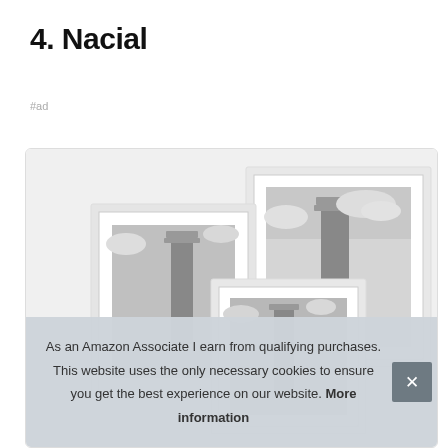4. Nacial
#ad
[Figure (photo): Product photo showing multiple white picture frames of different sizes, each containing a black-and-white photograph of the Leaning Tower of Pisa against a cloudy sky. Frames are arranged overlapping each other on a light background.]
As an Amazon Associate I earn from qualifying purchases. This website uses the only necessary cookies to ensure you get the best experience on our website. More information